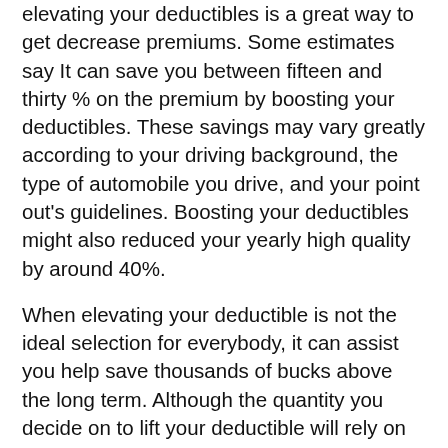elevating your deductibles is a great way to get decrease premiums. Some estimates say It can save you between fifteen and thirty % on the premium by boosting your deductibles. These savings may vary greatly according to your driving background, the type of automobile you drive, and your point out's guidelines. Boosting your deductibles might also reduced your yearly high quality by around 40%.
When elevating your deductible is not the ideal selection for everybody, it can assist you help save thousands of bucks above the long term. Although the quantity you decide on to lift your deductible will rely on your economical predicament, professionals advise preserving not less than two months' worthy of of residing expenses. On top of that, it is going to decrease your insurance policies charges on a monthly basis. You will also help you save a big amount of money in case you at any time create a declare.
Obtaining a policy by using a